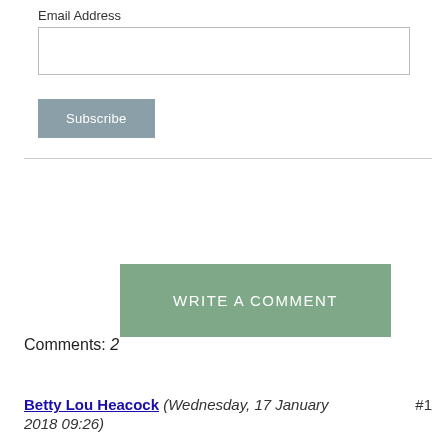Email Address
Subscribe
WRITE A COMMENT
Comments: 2
Betty Lou Heacock (Wednesday, 17 January 2018 09:26) #1